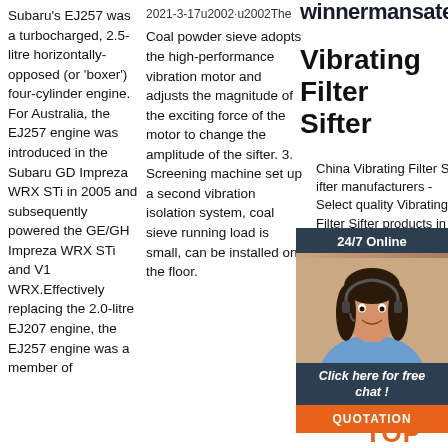Subaru's EJ257 was a turbocharged, 2.5-litre horizontally-opposed (or 'boxer') four-cylinder engine. For Australia, the EJ257 engine was introduced in the Subaru GD Impreza WRX STi in 2005 and subsequently powered the GE/GH Impreza WRX STi and V1 WRX.Effectively replacing the 2.0-litre EJ207 engine, the EJ257 engine was a member of
winnermansatering.com
Vibrating Filter Sifter
2021-3-17u2002·u2002The Coal powder sieve adopts the high-performance vibration motor and adjusts the magnitude of the exciting force of the motor to change the amplitude of the sifter. 3. Screening machine set up a second vibration isolation system, coal sieve running load is small, can be installed on the floor.
[Figure (photo): Customer service representative woman with headset, dark hair, smiling, overlaid on dark blue chat panel with 24/7 Online label, Click here for free chat text, and QUOTATION orange button]
China Vibrating Filter Sifter manufacturers - Select quality Vibrating Filter Sifter products in best price from certified Filter Production Line, Vibrating Equipment suppliers, wholesalers and factory on Made-in-China.com
[Figure (logo): Orange TOP badge/button with dot pattern at bottom right]